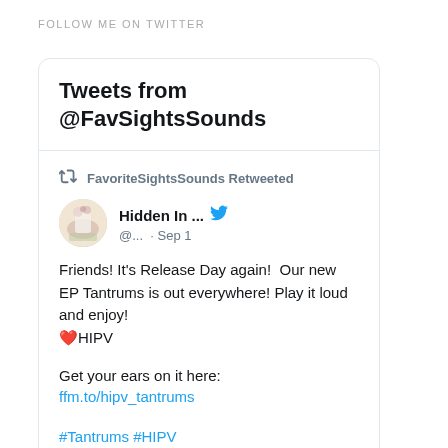FOLLOW ME ON TWITTER
Tweets from @FavSightsSounds
FavoriteSightsSounds Retweeted
Hidden In ... @... · Sep 1
Friends! It's Release Day again!  Our new EP Tantrums is out everywhere! Play it loud and enjoy! ❤️HIPV

Get your ears on it here:
ffm.to/hipv_tantrums

#Tantrums #HIPV
#HiddenInPlainView
#NewMusic